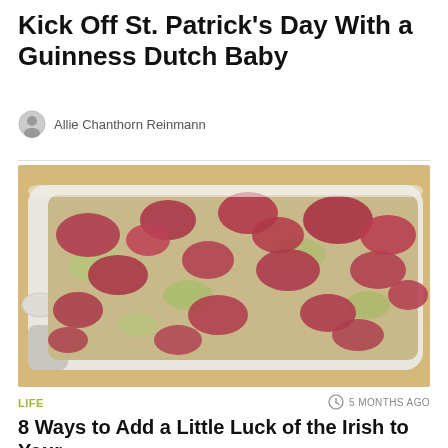Kick Off St. Patrick's Day With a Guinness Dutch Baby
Allie Chanthorn Reinmann
[Figure (photo): A white baking dish filled with a Dutch baby pancake topped with corned beef and cabbage, photographed close-up from an angle on a light surface.]
LIFE
5 MONTHS AGO
8 Ways to Add a Little Luck of the Irish to Your St. Patrick's Day Spread